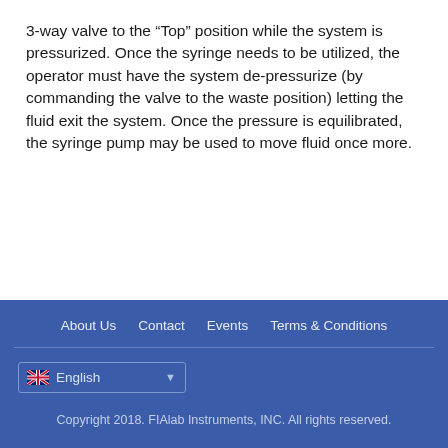3-way valve to the “Top” position while the system is pressurized. Once the syringe needs to be utilized, the operator must have the system de-pressurize (by commanding the valve to the waste position) letting the fluid exit the system. Once the pressure is equilibrated, the syringe pump may be used to move fluid once more.
About Us   Contact   Events   Terms & Conditions
English
Copyright 2018. FIAlab Instruments, INC. All rights reserved.